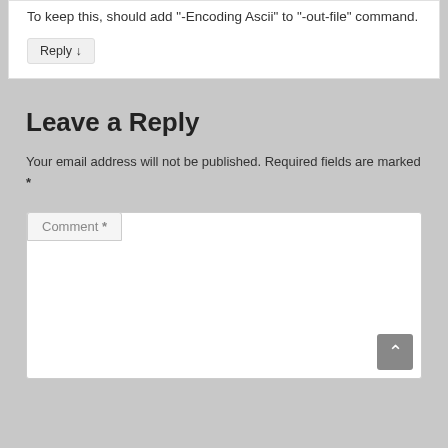To keep this, should add "-Encoding Ascii" to "-out-file" command.
Reply ↓
Leave a Reply
Your email address will not be published. Required fields are marked *
Comment *